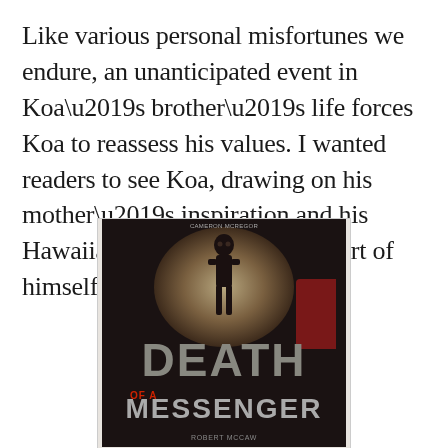Like various personal misfortunes we endure, an unanticipated event in Koa’s brother’s life forces Koa to reassess his values. I wanted readers to see Koa, drawing on his mother’s inspiration and his Hawaiian heritage, reinvent a part of himself.
[Figure (illustration): Book cover for 'Death of a Messenger' showing a dark Hawaiian idol figure against a glowing brownish background with red fabric, large gray text reading DEATH OF A MESSENGER]